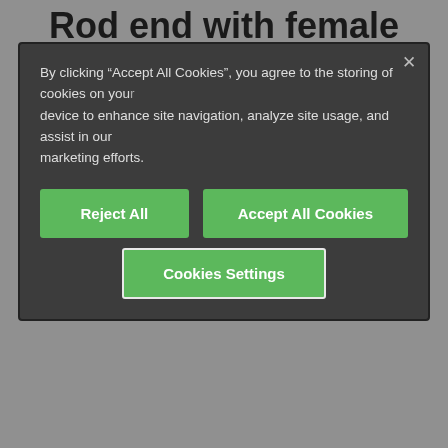Rod end with female
By clicking “Accept All Cookies”, you agree to the storing of cookies on your device to enhance site navigation, analyze site usage, and assist in our marketing efforts.
Reject All
Accept All Cookies
Cookies Settings
[Figure (photo): Rod end bearing product photo showing a dark navy cylindrical rod end component]
1 of 4
Rod end bearing with female thread and integrated lock nut for a simplified